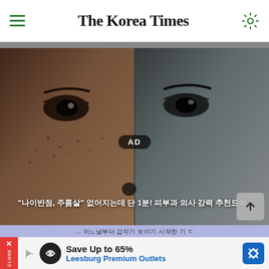The Korea Times
[Figure (photo): Close-up split image of a face: left side shows a real human face with freckles and dark eyes, right side shows a CGI/digital face with smooth pale skin and dark eyes. Korean text subtitle overlay at bottom reads: "나이반점, 주름살" 없어지는데 단 1분! 피부과 의사 강력 추천드려..]
[Figure (screenshot): Bottom advertisement banner showing 'Save Up to 65% Leesburg Premium Outlets' with play button, circular logo, and blue diamond arrow icon. Also shows partial BTS text and a close button with red X on the left side.]